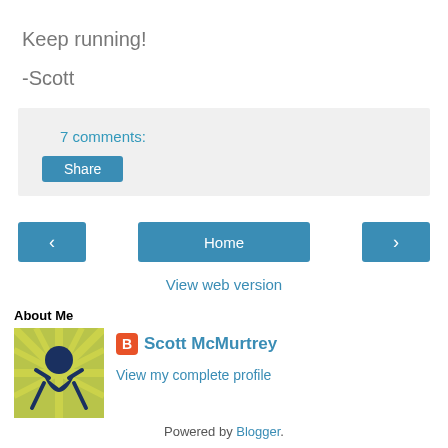Keep running!
-Scott
7 comments:
Share
Home
View web version
About Me
Scott McMurtrey
View my complete profile
Powered by Blogger.